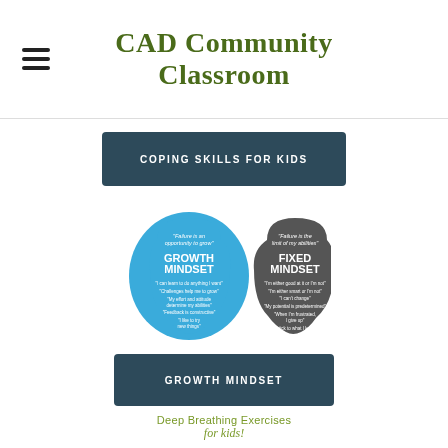CAD Community Classroom
COPING SKILLS FOR KIDS
[Figure (illustration): Two human head silhouettes side by side. Left head is blue labeled GROWTH MINDSET with positive affirmations. Right head is dark gray labeled FIXED MINDSET with limiting beliefs.]
GROWTH MINDSET
Deep Breathing Exercises for kids!